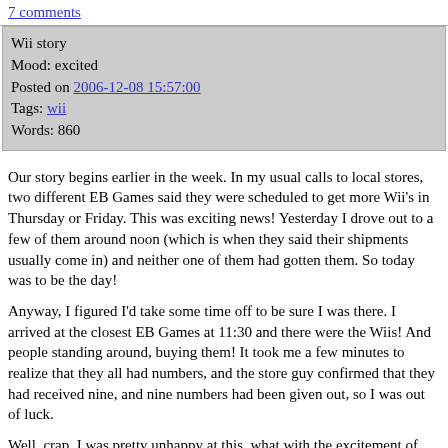7 comments
Wii story
Mood: excited
Posted on 2006-12-08 15:57:00
Tags: wii
Words: 860
Our story begins earlier in the week. In my usual calls to local stores, two different EB Games said they were scheduled to get more Wii's in Thursday or Friday. This was exciting news! Yesterday I drove out to a few of them around noon (which is when they said their shipments usually come in) and neither one of them had gotten them. So today was to be the day!
Anyway, I figured I'd take some time off to be sure I was there. I arrived at the closest EB Games at 11:30 and there were the Wiis! And people standing around, buying them! It took me a few minutes to realize that they all had numbers, and the store guy confirmed that they had received nine, and nine numbers had been given out, so I was out of luck.
Well, crap. I was pretty unhappy at this, what with the excitement of driving there and then the letdown. I called the other EB Games